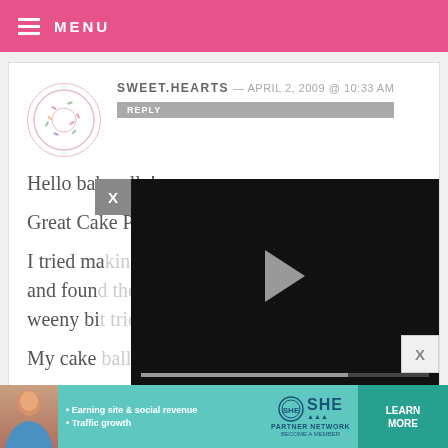MENU
SWEET.HEARTS — APRIL 2, 2009 @ 10:33 AM
REPLY
Hello bakerella!

Great Cake Pops!.

I tried ma... and foun... weeny bi...

My cake... when i dip it in choc. Do i dip the stick in choc first and then insert into the
[Figure (screenshot): Embedded video player overlay with play button, progress bar at ~70%, timestamp 13:52, and playback controls (mute, CC, grid, settings, fullscreen). Dark/black background.]
[Figure (infographic): SHE Partner Network advertisement banner. Teal background with woman photo, bullet points 'Earning site & social revenue' and 'Traffic growth', SHE logo, PARTNER NETWORK text, BECOME A MEMBER, and LEARN MORE button.]